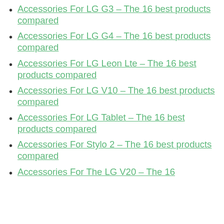Accessories For LG G3 – The 16 best products compared
Accessories For LG G4 – The 16 best products compared
Accessories For LG Leon Lte – The 16 best products compared
Accessories For LG V10 – The 16 best products compared
Accessories For LG Tablet – The 16 best products compared
Accessories For Stylo 2 – The 16 best products compared
Accessories For The LG V20 – The 16